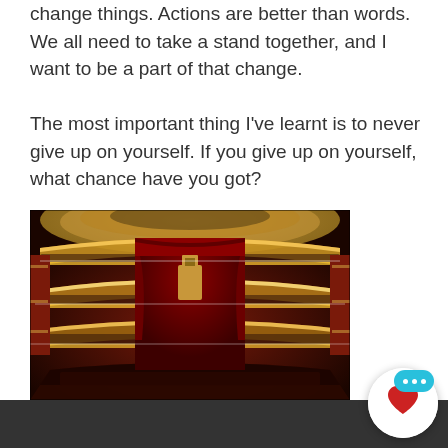change things. Actions are better than words. We all need to take a stand together, and I want to be a part of that change. The most important thing I've learnt is to never give up on yourself. If you give up on yourself, what chance have you got?
[Figure (photo): Interior of a grand opera house or theater, showing multiple ornate balcony tiers lit with warm golden lights, a red curtained stage at the back, and a large audience filling the seats. The architecture features elaborate gilded decorations.]